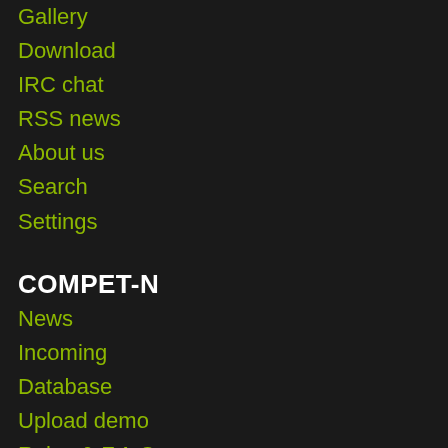Gallery
Download
IRC chat
RSS news
About us
Search
Settings
COMPET-N
News
Incoming
Database
Upload demo
Rules & F.A.Q.
Players
Contests
Tools
Top 100
Stats
Comments
Tricks
About
Forum